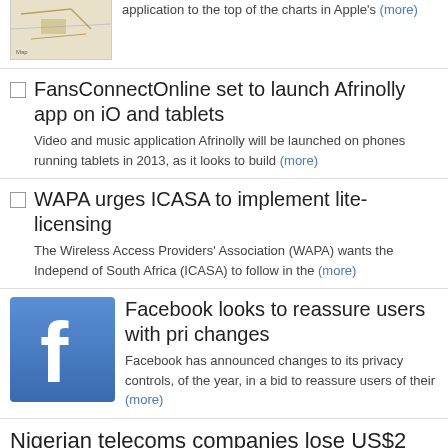[Figure (map): Thumbnail map image]
application to the top of the charts in Apple's (more)
FansConnectOnline set to launch Afrinolly app on iOS and tablets
Video and music application Afrinolly will be launched on phones running tablets in 2013, as it looks to build (more)
WAPA urges ICASA to implement lite-licensing
The Wireless Access Providers' Association (WAPA) wants the Independent Communications Authority of South Africa (ICASA) to follow in the (more)
[Figure (logo): Facebook logo thumbnail - blue square with white 'f']
Facebook looks to reassure users with privacy changes
Facebook has announced changes to its privacy controls, of the year, in a bid to reassure users of their (more)
Nigerian telecoms companies lose US$2 million an hour downtime
Nigerian operators are losing US$2 million an hour because downtime, according to global hardware and software (more)